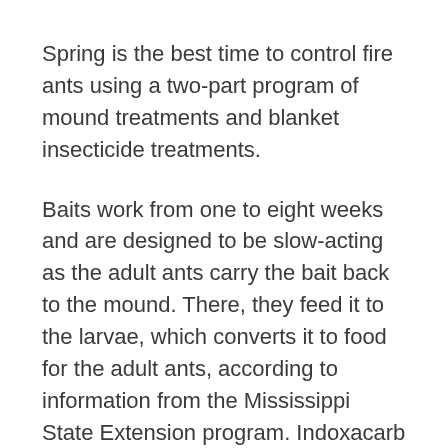Spring is the best time to control fire ants using a two-part program of mound treatments and blanket insecticide treatments.
Baits work from one to eight weeks and are designed to be slow-acting as the adult ants carry the bait back to the mound. There, they feed it to the larvae, which converts it to food for the adult ants, according to information from the Mississippi State Extension program. Indoxacarb and hydramethylnon are faster-acting granular baits. Treatments to mounds can be a dry or liquid drench applied directly to the mound. Broadcast treatments should be applied with a spreader and can be either bait or